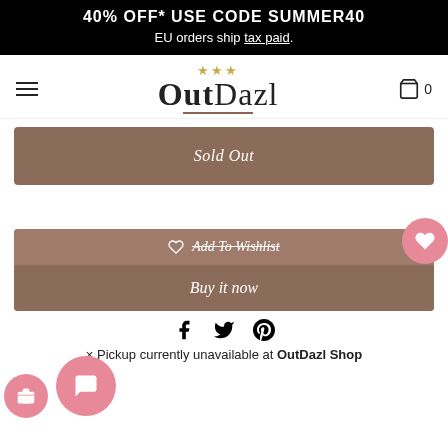40% OFF* USE CODE SUMMER40
EU orders ship tax paid.
[Figure (logo): OutDazl logo with stars and brown underline, hamburger menu left, cart icon right]
Sold Out
♡ Add To Wishlist
Buy it now
[Figure (infographic): Social sharing icons: Facebook, Twitter, Pinterest]
× Pickup currently unavailable at OutDazl Shop